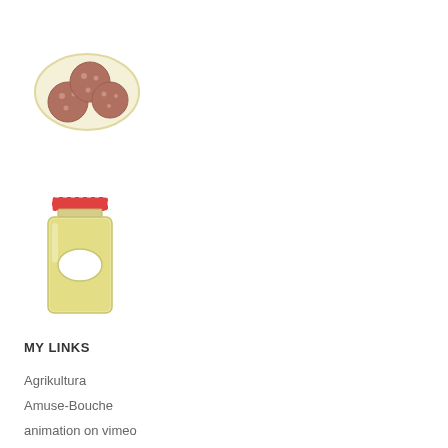[Figure (illustration): Illustration of meatballs on a plate/dish, shown from above, light tan plate with round brown meatballs with white dots]
[Figure (illustration): Illustration of a mason jar with a red checkered lid and a white oval label, filled with yellowish content]
MY LINKS
Agrikultura
Amuse-Bouche
animation on vimeo
EcoSalon
Honest Cooking
johannak on spoonflower
my Society6 shop